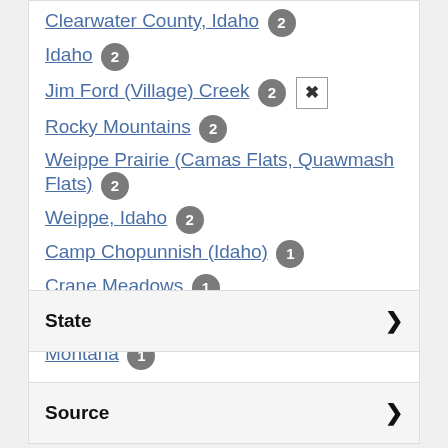Clearwater County, Idaho 2
Idaho 2
Jim Ford (Village) Creek 2 [x]
Rocky Mountains 2
Weippe Prairie (Camas Flats, Quawmash Flats) 2
Weippe, Idaho 2
Camp Chopunnish (Idaho) 1
Crane Meadows 1
Lolo (Collins's) Creek (Idaho) 1
Montana 1
See all Places
State
Source